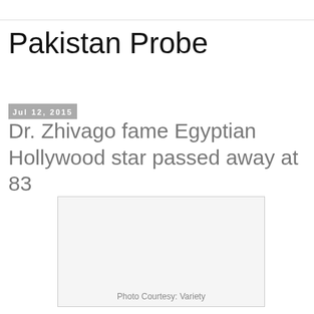Pakistan Probe
Jul 12, 2015
Dr. Zhivago fame Egyptian Hollywood star passed away at 83
[Figure (photo): Empty/blank image placeholder with light gray background and border]
Photo Courtesy: Variety